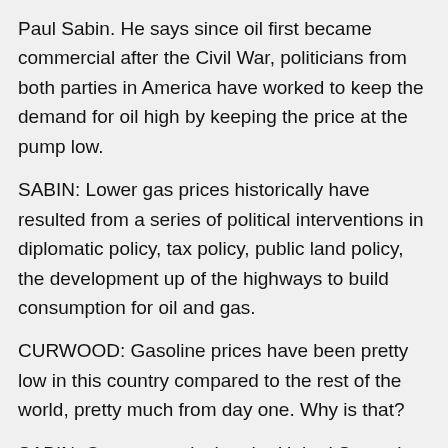Paul Sabin. He says since oil first became commercial after the Civil War, politicians from both parties in America have worked to keep the demand for oil high by keeping the price at the pump low.
SABIN: Lower gas prices historically have resulted from a series of political interventions in diplomatic policy, tax policy, public land policy, the development up of the highways to build consumption for oil and gas.
CURWOOD: Gasoline prices have been pretty low in this country compared to the rest of the world, pretty much from day one. Why is that?
SABIN: One reason is that the United States has been a great supplier of oil to its own consumers and to the whole world, since oil became a product that went to market right before the Civil War. Actually, oil was first